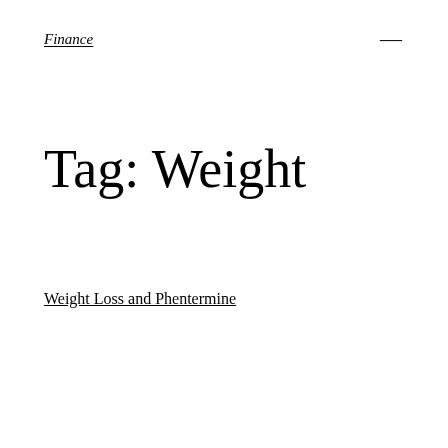Finance
Tag: Weight
Weight Loss and Phentermine